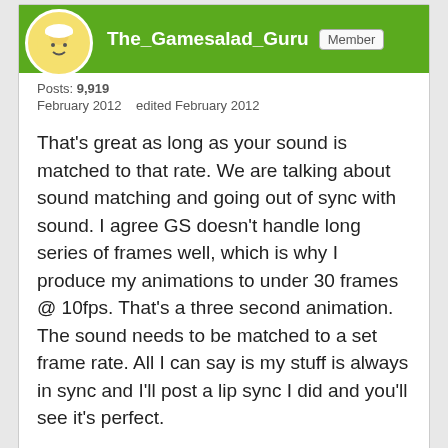The_Gamesalad_Guru | Member
Posts: 9,919
February 2012   edited February 2012
That's great as long as your sound is matched to that rate. We are talking about sound matching and going out of sync with sound. I agree GS doesn't handle long series of frames well, which is why I produce my animations to under 30 frames @ 10fps. That's a three second animation. The sound needs to be matched to a set frame rate. All I can say is my stuff is always in sync and I'll post a lip sync I did and you'll see it's perfect.
old_kipper | Member | Posts: 1,420
February 2012